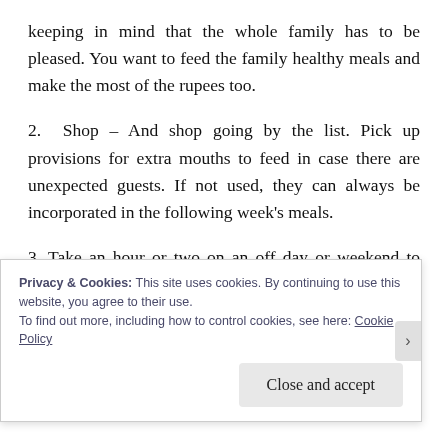keeping in mind that the whole family has to be pleased. You want to feed the family healthy meals and make the most of the rupees too.
2. Shop – And shop going by the list. Pick up provisions for extra mouths to feed in case there are unexpected guests. If not used, they can always be incorporated in the following week's meals.
3. Take an hour or two on an off day or weekend to prepare the masalas, grind the gravies, scrape the
Privacy & Cookies: This site uses cookies. By continuing to use this website, you agree to their use. To find out more, including how to control cookies, see here: Cookie Policy
Close and accept